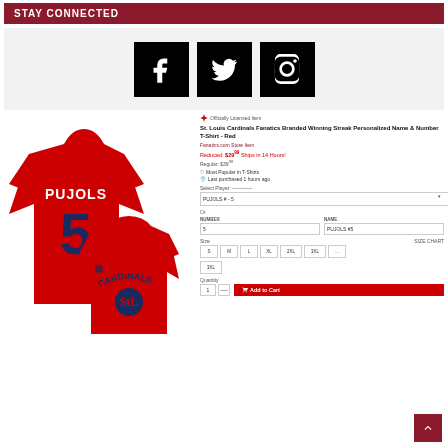STAY CONNECTED
[Figure (infographic): Three black square social media icons: Facebook (f), Twitter (bird), and Instagram (camera) arranged horizontally on a light gray background]
[Figure (photo): St. Louis Cardinals Fanatics Branded Winning Streak Personalized Name & Number T-Shirt in Red, showing PUJOLS #5 on the back and Cardinals logo on the front]
Officially Licensed Item
St. Louis Cardinals Fanatics Branded Winning Streak Personalized Name & Number T-Shirt - Red
Fanatics.com Store Item
Reduced: $29.99 Ships in 14 Hours! Regular: $39.99
Most Popular in T-Shirts
Last purchased 1 hours ago
Select Player:
PUJOLS #5
Or
NUMBER: 5  NAME: PUJOLS #5
Size  SIZE CHART
S  M  L  XL  2XL  3XL  ...  3XL
Quantity
1  —  Add to Cart